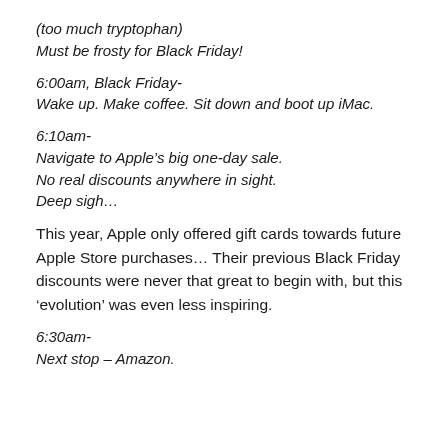(too much tryptophan)
Must be frosty for Black Friday!
6:00am, Black Friday-
Wake up. Make coffee. Sit down and boot up iMac.
6:10am-
Navigate to Apple’s big one-day sale.
No real discounts anywhere in sight.
Deep sigh…
This year, Apple only offered gift cards towards future Apple Store purchases… Their previous Black Friday discounts were never that great to begin with, but this ‘evolution’ was even less inspiring.
6:30am-
Next stop – Amazon.